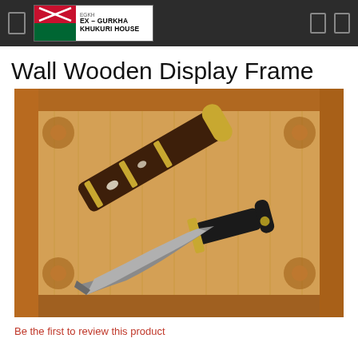Ex-Gurkha Khukuri House
Wall Wooden Display Frame
[Figure (photo): A wooden display frame (wall-mountable) with carved decorative corners, shown with a khukuri knife (Gurkha kukri) and its scabbard placed inside. The frame is made of light-colored wood with floral carvings at each corner. The khukuri has a dark curved blade, black handle with brass accents, and a decorative sheath.]
Be the first to review this product